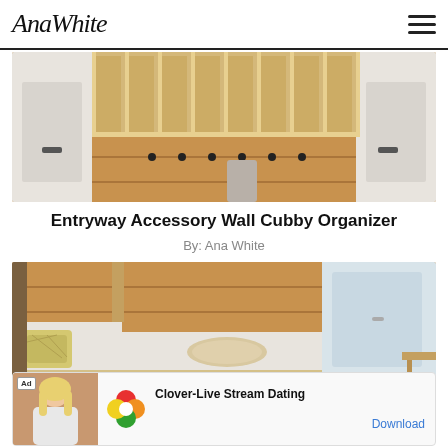AnaWhite
[Figure (photo): Interior mudroom with white cubby organizer shelves on top, wooden shiplap wall with black coat hooks, and white cabinet doors on the sides]
Entryway Accessory Wall Cubby Organizer
By: Ana White
[Figure (photo): Mudroom bench area with white lower cabinets, light wood bench top, decorative yellow pillow, rolled blanket, gray floor, and white locker-style upper cabinets; partial view of wooden table on right]
[Figure (photo): Advertisement banner: Clover-Live Stream Dating app ad with a woman photo on left, Clover app logo (4-leaf clover with colors), app name, and Download link]